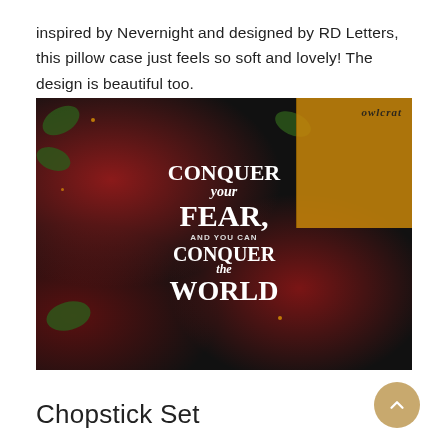inspired by Nevernight and designed by RD Letters, this pillow case just feels so soft and lovely! The design is beautiful too.
[Figure (photo): Close-up photo of a black pillow case with roses and floral design, featuring the text 'CONQUER your FEAR, AND YOU CAN CONQUER the WORLD' in white and gold lettering. An Owlcrate box is partially visible in the upper right corner.]
Chopstick Set